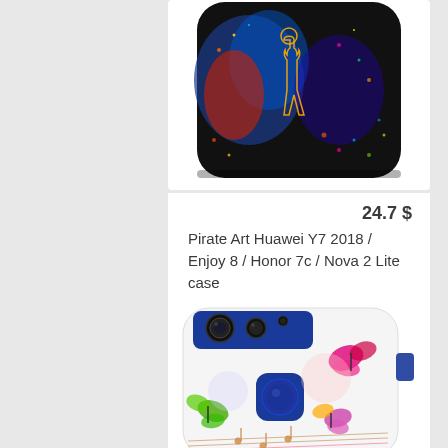[Figure (photo): Phone case product image showing dark background with colorful pirate art figure - neon outlines of a person against a swirling colorful galaxy/space background]
24.7 $
Pirate Art Huawei Y7 2018 / Enjoy 8 / Honor 7c / Nova 2 Lite case
[Figure (photo): Phone case product image showing a Huawei smartphone case with a colorful music theme - butterflies, musical notes/staff lines on white background, blue camera module visible at top]